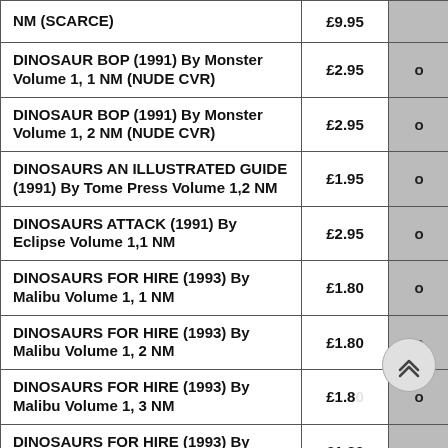| Item | Price | Qty |
| --- | --- | --- |
| NM (SCARCE) | £9.95 | o |
| DINOSAUR BOP (1991) By Monster Volume 1, 1 NM (NUDE CVR) | £2.95 | o |
| DINOSAUR BOP (1991) By Monster Volume 1, 2 NM (NUDE CVR) | £2.95 | o |
| DINOSAURS AN ILLUSTRATED GUIDE (1991) By Tome Press Volume 1,2 NM | £1.95 | o |
| DINOSAURS ATTACK (1991) By Eclipse Volume 1,1 NM | £2.95 | o |
| DINOSAURS FOR HIRE (1993) By Malibu Volume 1, 1 NM | £1.80 | o |
| DINOSAURS FOR HIRE (1993) By Malibu Volume 1, 2 NM | £1.80 | o |
| DINOSAURS FOR HIRE (1993) By Malibu Volume 1, 3 NM | £1.80 | o |
| DINOSAURS FOR HIRE (1993) By Malibu | £1.80 | o |